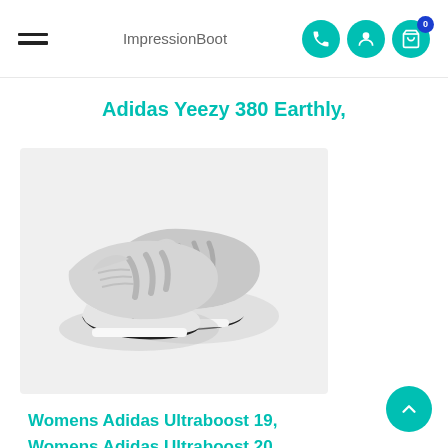ImpressionBoot
Adidas Yeezy 380 Earthly,
[Figure (photo): A pair of light grey Adidas Ultraboost sneakers photographed on a white/light background, shown from a side-front angle.]
Womens Adidas Ultraboost 19, Womens Adidas Ultraboost 20,